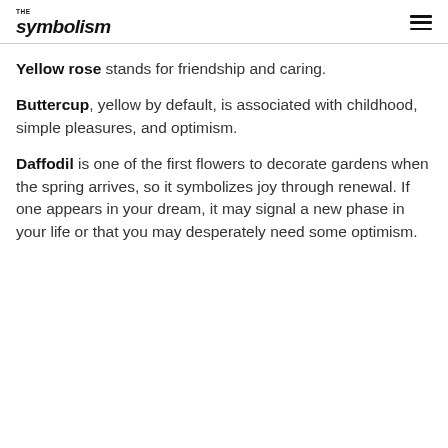THE symbolism
Yellow rose stands for friendship and caring.
Buttercup, yellow by default, is associated with childhood, simple pleasures, and optimism.
Daffodil is one of the first flowers to decorate gardens when the spring arrives, so it symbolizes joy through renewal. If one appears in your dream, it may signal a new phase in your life or that you may desperately need some optimism.